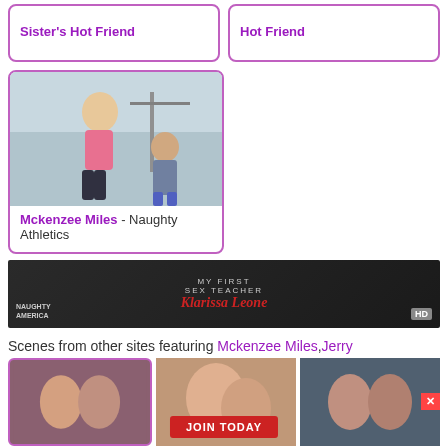Sister's Hot Friend
Hot Friend
[Figure (photo): Woman in pink sports bra and dark leggings in gym setting with man in background]
Mckenzee Miles - Naughty Athletics
[Figure (photo): Banner ad: My First Sex Teacher featuring Klarissa Leone, Naughty America, HD]
Scenes from other sites featuring Mckenzee Miles, Jerry
[Figure (photo): Bottom grid of adult content thumbnails with JOIN TODAY button]